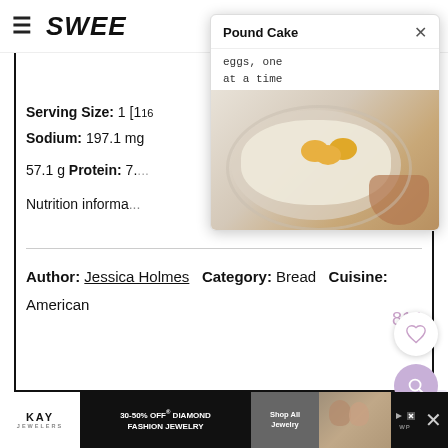SWE[E...]
[Figure (screenshot): Popup dialog titled 'Pound Cake' with text 'eggs, one at a time' and a photo of hands cracking eggs into a bowl of batter]
Serving Size: 1 [slice]
Sodium: 197.1 mg
57.1 g Protein: 7.[...]
Nutrition informa[tion...]
Author: Jessica Holmes   Category: Bread   Cuisine:
American
814
[Figure (screenshot): Heart/favorite button (circle with heart icon) and search button (purple circle with magnifying glass icon)]
[Figure (screenshot): Advertisement banner: KAY Jewelers 30-50% OFF Diamond Fashion Jewelry, Shop All Jewelry button, with couple photo and close/tracking icons]